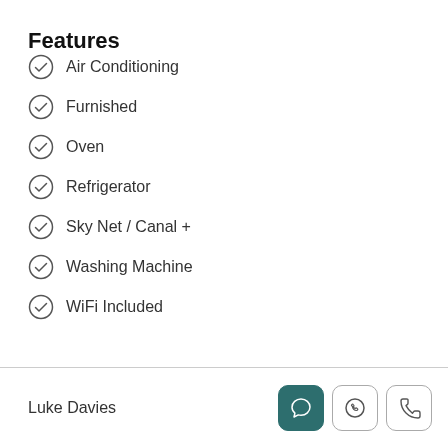Features
Air Conditioning
Furnished
Oven
Refrigerator
Sky Net / Canal +
Washing Machine
WiFi Included
Luke Davies